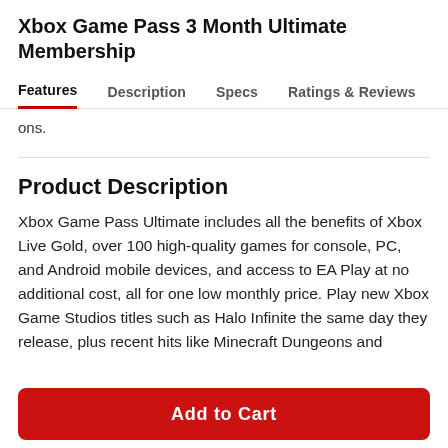Xbox Game Pass 3 Month Ultimate Membership
Features   Description   Specs   Ratings & Reviews
ons.
Product Description
Xbox Game Pass Ultimate includes all the benefits of Xbox Live Gold, over 100 high-quality games for console, PC, and Android mobile devices, and access to EA Play at no additional cost, all for one low monthly price. Play new Xbox Game Studios titles such as Halo Infinite the same day they release, plus recent hits like Minecraft Dungeons and